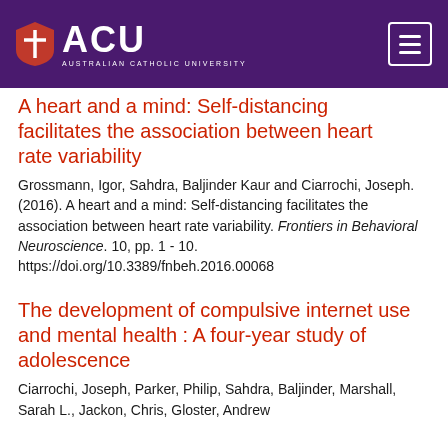[Figure (logo): ACU (Australian Catholic University) logo with white shield and cross on purple background header, with hamburger menu icon on right]
A heart and a mind: Self-distancing facilitates the association between heart rate variability
Grossmann, Igor, Sahdra, Baljinder Kaur and Ciarrochi, Joseph. (2016). A heart and a mind: Self-distancing facilitates the association between heart rate variability. Frontiers in Behavioral Neuroscience. 10, pp. 1 - 10. https://doi.org/10.3389/fnbeh.2016.00068
The development of compulsive internet use and mental health : A four-year study of adolescence
Ciarrochi, Joseph, Parker, Philip, Sahdra, Baljinder, Marshall, Sarah L., Jackon, Chris, Gloster, Andrew